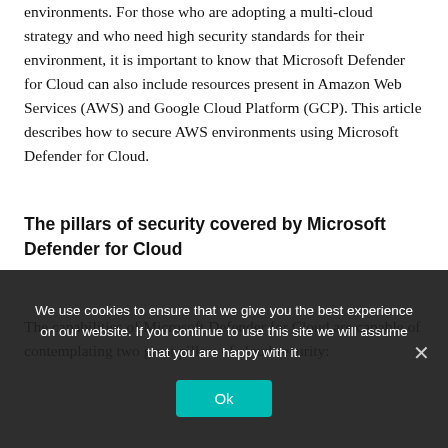environments. For those who are adopting a multi-cloud strategy and who need high security standards for their environment, it is important to know that Microsoft Defender for Cloud can also include resources present in Amazon Web Services (AWS) and Google Cloud Platform (GCP). This article describes how to secure AWS environments using Microsoft Defender for Cloud.
The pillars of security covered by Microsoft Defender for Cloud
The capabilities of Microsoft Defender for Cloud are capable of contemplating two great pillars of cloud security:
We use cookies to ensure that we give you the best experience on our website. If you continue to use this site we will assume that you are happy with it.